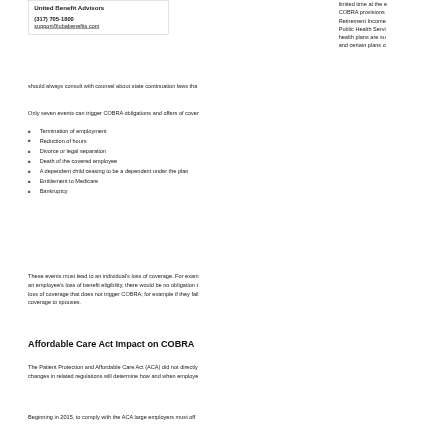United Benefit Advisors
(317) 705-1800
support@ubabenefits.com
limited time at the employer's group rate and without required insurability. COBRA provisions are required under the Employee Retirement Income Security Act of 1974 (ERISA), the Internal Revenue Code, the Public Health Service Act and other federal laws. Insured health plans are subject to other federal health insurance laws and certain plans of religious organizations may be exempt. Employers should always consult with counsel about state continuation laws that may be broader than COBRA.
Only seven events can trigger COBRA obligations and offers of coverage:
Termination of employment
Reduction of hours
Divorce or legal separation
Death of the covered employee
A dependent child ceasing to be a dependent under the plan
Entitlement to Medicare
Bankruptcy
These events must lead to an individual's loss of coverage. For example, if a plan change results in an employee's loss of benefit eligibility, there would be no obligation to offer COBRA. There is also a loss of coverage that does not trigger COBRA; for example if they fail to add a spouse to coverage. Plans are not obligated to offer coverage to spouses.
Affordable Care Act Impact on COBRA
The Patient Protection and Affordable Care Act (ACA) did not directly amend COBRA, but regulatory changes in related regulations will determine how and when employees elect COBRA.
Beginning in 2015, to comply with the ACA large employers must offer